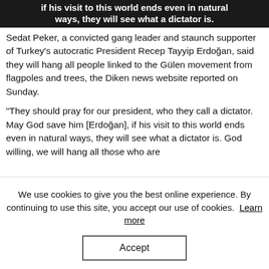[Figure (screenshot): Dark banner image with white bold text: 'if his visit to this world ends even in natural ways, they will see what a dictator is.']
Sedat Peker, a convicted gang leader and staunch supporter of Turkey's autocratic President Recep Tayyip Erdoğan, said they will hang all people linked to the Gülen movement from flagpoles and trees, the Diken news website reported on Sunday.
“They should pray for our president, who they call a dictator. May God save him [Erdoğan], if his visit to this world ends even in natural ways, they will see what a dictator is. God willing, we will hang all those who are
We use cookies to give you the best online experience. By continuing to use this site, you accept our use of cookies. Learn more
Accept